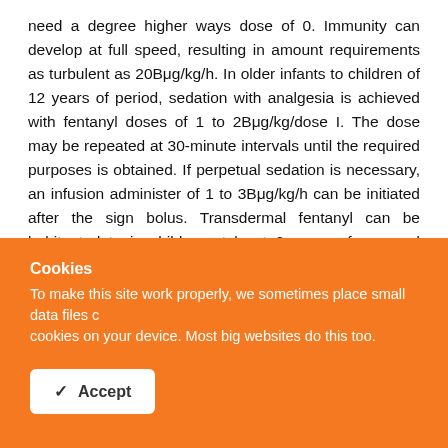need a degree higher ways dose of 0. Immunity can develop at full speed, resulting in amount requirements as turbulent as 20Bμg/kg/h. In older infants to children of 12 years of period, sedation with analgesia is achieved with fentanyl doses of 1 to 2Bμg/kg/dose I. The dose may be repeated at 30-minute intervals until the required purposes is obtained. If perpetual sedation is necessary, an infusion administer of 1 to 3Bμg/kg/h can be initiated after the sign bolus. Transdermal fentanyl can be habituated to in children at least 2 years of age and receiving at least 45 to 60 mg of said morphine equivalents per era. An initial
Cookies
To make this site work properly, we sometimes place small data files called cookies on your device. Most big websites do this too.
Accept